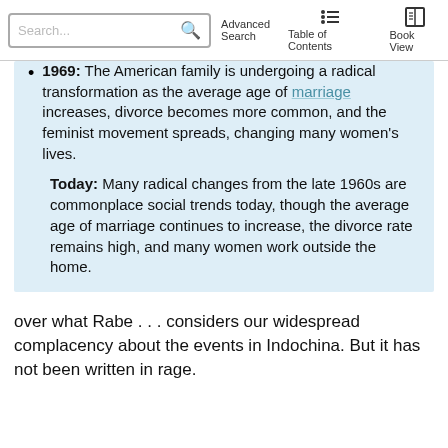Search... Advanced Search  Table of Contents  Book View
1969: The American family is undergoing a radical transformation as the average age of marriage increases, divorce becomes more common, and the feminist movement spreads, changing many women's lives.
Today: Many radical changes from the late 1960s are commonplace social trends today, though the average age of marriage continues to increase, the divorce rate remains high, and many women work outside the home.
over what Rabe . . . considers our widespread complacency about the events in Indochina. But it has not been written in rage.